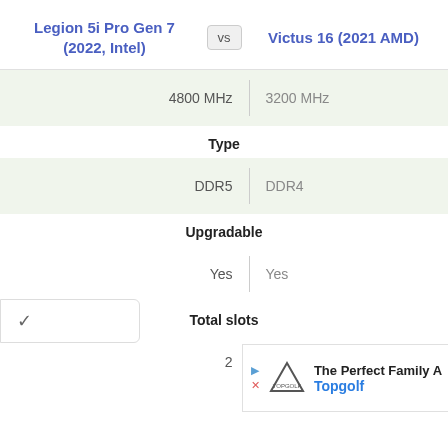Legion 5i Pro Gen 7 (2022, Intel) vs Victus 16 (2021 AMD)
| Legion 5i Pro Gen 7 (2022, Intel) |  | Victus 16 (2021 AMD) |
| --- | --- | --- |
| 4800 MHz |  | 3200 MHz |
|  | Type |  |
| DDR5 |  | DDR4 |
|  | Upgradable |  |
| Yes |  | Yes |
|  | Total slots |  |
| 2 |  | 2 |